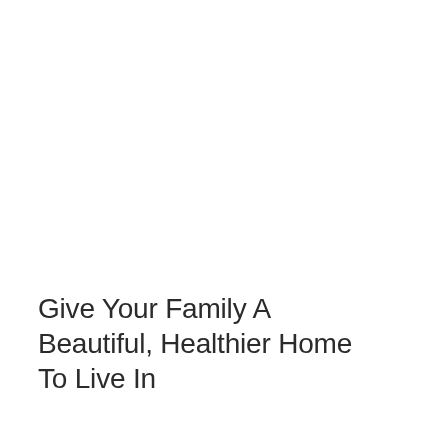Give Your Family A Beautiful, Healthier Home To Live In